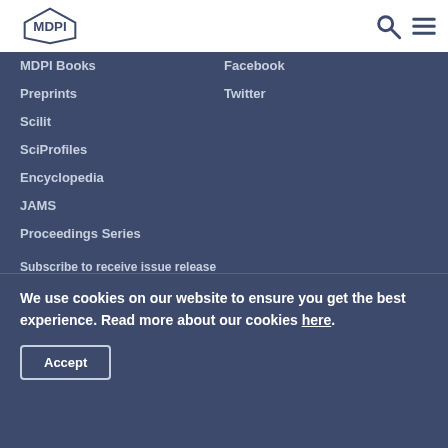MDPI
MDPI Books
Preprints
Scilit
SciProfiles
Encyclopedia
JAMS
Proceedings Series
Facebook
Twitter
Subscribe to receive issue release notifications and newsletters from MDPI journals
We use cookies on our website to ensure you get the best experience. Read more about our cookies here.